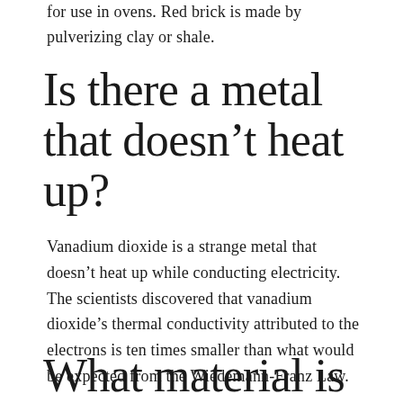for use in ovens. Red brick is made by pulverizing clay or shale.
Is there a metal that doesn’t heat up?
Vanadium dioxide is a strange metal that doesn’t heat up while conducting electricity. The scientists discovered that vanadium dioxide’s thermal conductivity attributed to the electrons is ten times smaller than what would be expected from the Wiedemann-Franz Law.
What material is heat